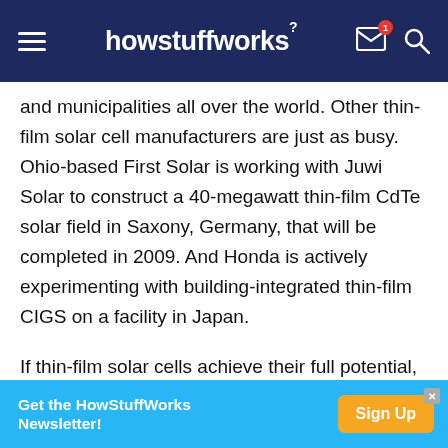howstuffworks
and municipalities all over the world. Other thin-film solar cell manufacturers are just as busy. Ohio-based First Solar is working with Juwi Solar to construct a 40-megawatt thin-film CdTe solar field in Saxony, Germany, that will be completed in 2009. And Honda is actively experimenting with building-integrated thin-film CIGS on a facility in Japan.
If thin-film solar cells achieve their full potential, however, it's easy to imagine a future where solar power is as ubiquitous as, well, sunlight. Thin-film cells could be the surface of any number of...
[Figure (infographic): Bottom advertisement banner: 'Get the HowStuffWorks Newsletter!' in white bold text on cyan/light-blue background, with an orange 'Sign Up' button on the right.]